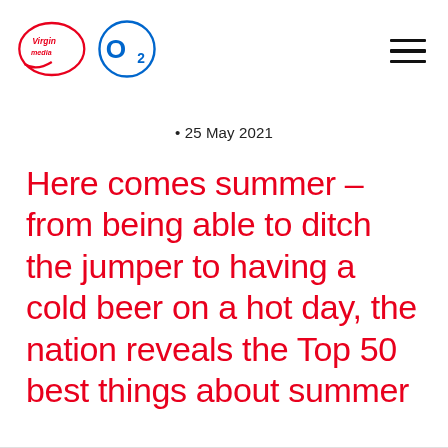[Figure (logo): Virgin Media O2 combined logo — Virgin Media red cursive logo with infinity-style swoosh connecting to O2 blue circle logo]
• 25 May 2021
Here comes summer – from being able to ditch the jumper to having a cold beer on a hot day, the nation reveals the Top 50 best things about summer